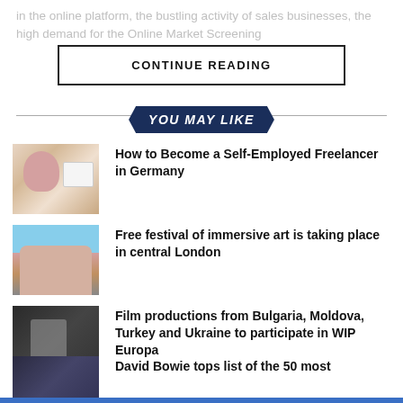in the online platform, the bustling activity of sales businesses, the high demand for the Online Market Screening...
CONTINUE READING
YOU MAY LIKE
[Figure (photo): Person with pink hijab looking at a laptop screen]
How to Become a Self-Employed Freelancer in Germany
[Figure (photo): Classical building with columns in central London, possibly the National Gallery]
Free festival of immersive art is taking place in central London
[Figure (photo): Dark cinematic still of a person, film production scene]
Film productions from Bulgaria, Moldova, Turkey and Ukraine to participate in WIP Europa
[Figure (photo): Partially visible image related to David Bowie article]
David Bowie tops list of the 50 most